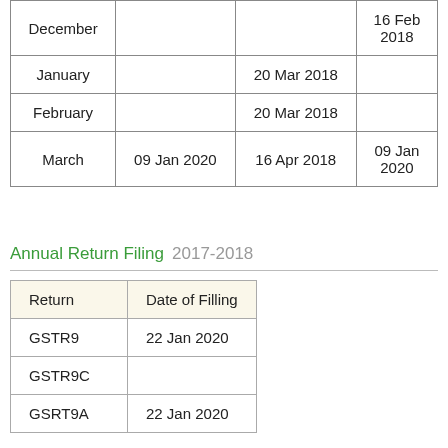| Month |  |  |  |
| --- | --- | --- | --- |
| December |  |  | 16 Feb 2018 |
| January |  | 20 Mar 2018 |  |
| February |  | 20 Mar 2018 |  |
| March | 09 Jan 2020 | 16 Apr 2018 | 09 Jan 2020 |
Annual Return Filing 2017-2018
| Return | Date of Filling |
| --- | --- |
| GSTR9 | 22 Jan 2020 |
| GSTR9C |  |
| GSRT9A | 22 Jan 2020 |